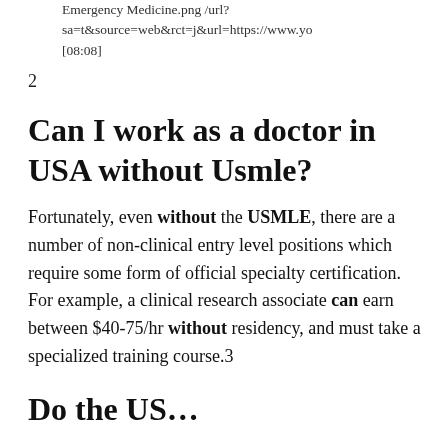Emergency Medicine.png /url?sa=t&source=web&rct=j&url=https://www.yo... [08:08]
2
Can I work as a doctor in USA without Usmle?
Fortunately, even without the USMLE, there are a number of non-clinical entry level positions which require some form of official specialty certification. For example, a clinical research associate can earn between $40-75/hr without residency, and must take a specialized training course.3
Do the US…